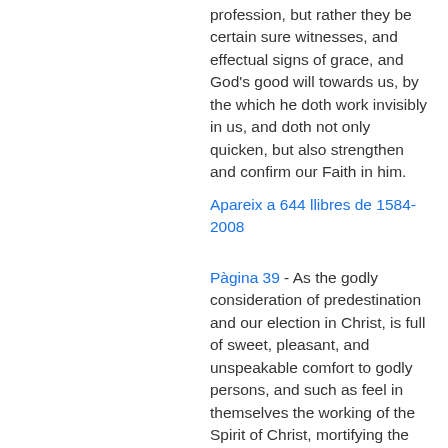profession, but rather they be certain sure witnesses, and effectual signs of grace, and God's good will towards us, by the which he doth work invisibly in us, and doth not only quicken, but also strengthen and confirm our Faith in him.
Apareix a 644 llibres de 1584-2008
Pàgina 39 - As the godly consideration of predestination and our election in Christ, is full of sweet, pleasant, and unspeakable comfort to godly persons, and such as feel in themselves the working of the Spirit of Christ, mortifying the